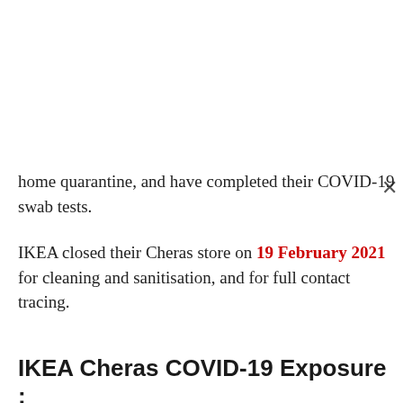home quarantine, and have completed their COVID-19 swab tests.
IKEA closed their Cheras store on 19 February 2021 for cleaning and sanitisation, and for full contact tracing.
IKEA Cheras COVID-19 Exposure : Official Statement
Here is the official statement by IKEA on their Cheras Mall store COVID-19 exposure.
IKEA Malaysia, 19 Feb 2021: Following one of our scheduled